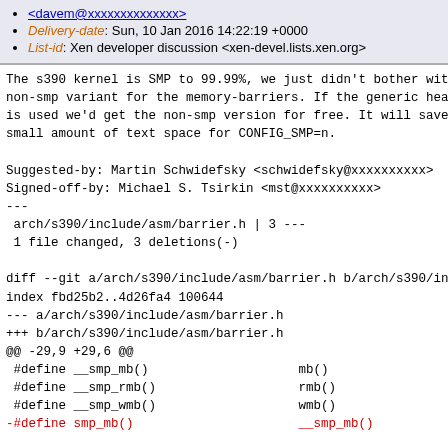<davem@xxxxxxxxxxxxxx>
Delivery-date: Sun, 10 Jan 2016 14:22:19 +0000
List-id: Xen developer discussion <xen-devel.lists.xen.org>
The s390 kernel is SMP to 99.99%, we just didn't bother with a non-smp variant for the memory-barriers. If the generic header is used we'd get the non-smp version for free. It will save a small amount of text space for CONFIG_SMP=n.

Suggested-by: Martin Schwidefsky <schwidefsky@xxxxxxxxxx>
Signed-off-by: Michael S. Tsirkin <mst@xxxxxxxxxx>
---
 arch/s390/include/asm/barrier.h | 3 ---
 1 file changed, 3 deletions(-)

diff --git a/arch/s390/include/asm/barrier.h b/arch/s390/inclu
index fbd25b2..4d26fa4 100644
--- a/arch/s390/include/asm/barrier.h
+++ b/arch/s390/include/asm/barrier.h
@@ -29,9 +29,6 @@
 #define __smp_mb()                    mb()
 #define __smp_rmb()                   rmb()
 #define __smp_wmb()                   wmb()
-#define smp_mb()                      __smp_mb()